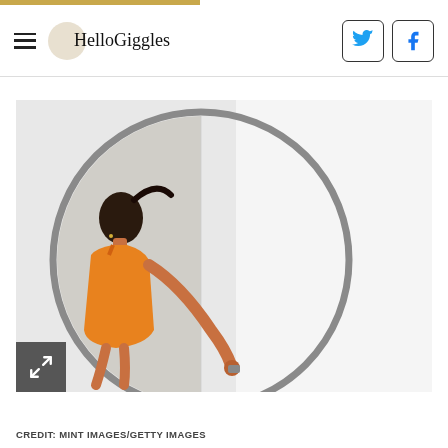HelloGiggles
[Figure (photo): A woman in an orange top reflected in a large round circular mirror mounted on a white wall, reaching toward the mirror surface.]
CREDIT: MINT IMAGES/GETTY IMAGES